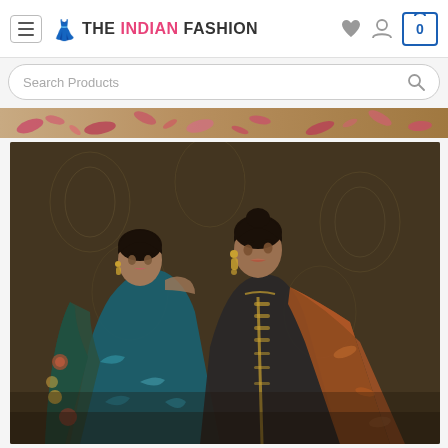THE INDIAN FASHION - Navigation bar with hamburger menu, logo, heart icon, user icon, and cart (0)
Search Products
[Figure (photo): Banner strip showing floral fabric with pink rose petals on beige/tan background]
[Figure (photo): Two South Asian women models posing against a dark ornate golden-brown background. Left model wears teal/blue floral printed outfit. Right model wears dark charcoal outfit with gold embroidery detail and rust/orange printed dupatta.]